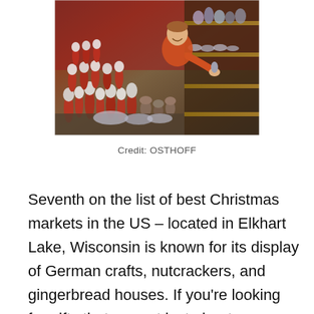[Figure (photo): A man in a red jacket at a Christmas market stall surrounded by Santa Claus figurines and ceramic crafts on display. Shelves with pottery visible in the background.]
Credit: OSTHOFF
Seventh on the list of best Christmas markets in the US – located in Elkhart Lake, Wisconsin is known for its display of German crafts, nutcrackers, and gingerbread houses. If you're looking for gifts that are not just about European traditions but Russian and Czech traditions too, then this is the place. Entries that are favorite